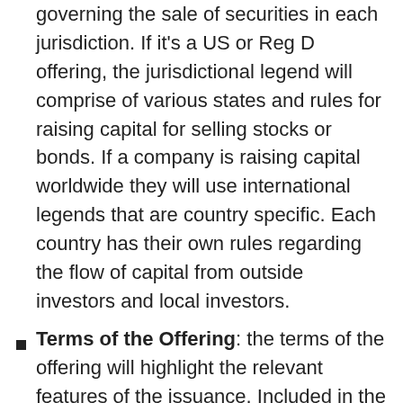governing the sale of securities in each jurisdiction. If it's a US or Reg D offering, the jurisdictional legend will comprise of various states and rules for raising capital for selling stocks or bonds. If a company is raising capital worldwide they will use international legends that are country specific. Each country has their own rules regarding the flow of capital from outside investors and local investors.
Terms of the Offering: the terms of the offering will highlight the relevant features of the issuance. Included in the offering term section will be the stock or share price, or bond or note price, investors requirements, use of proceeds, some risks factors, and, if a debt offering, the maturity date and interest rate. The terms of the offering are the main component of a PPM.